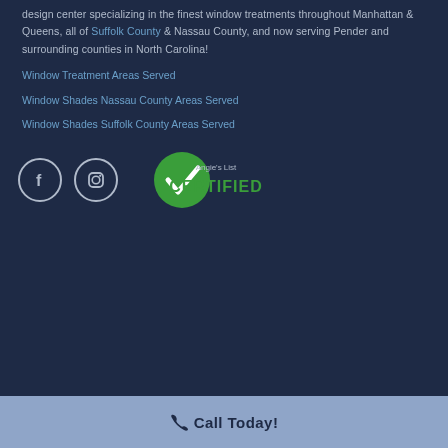Window Fashions is your full service in home & business mobile design center specializing in the finest window treatments throughout Manhattan & Queens, all of Suffolk County & Nassau County, and now serving Pender and surrounding counties in North Carolina!
Window Treatment Areas Served
Window Shades Nassau County Areas Served
Window Shades Suffolk County Areas Served
[Figure (logo): Facebook icon circle, Instagram icon circle, and Angie's List Certified badge]
Call Today!